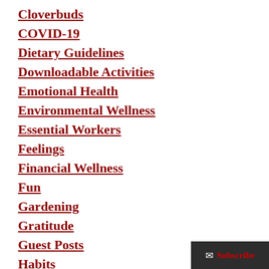Cloverbuds
COVID-19
Dietary Guidelines
Downloadable Activities
Emotional Health
Environmental Wellness
Essential Workers
Feelings
Financial Wellness
Fun
Gardening
Gratitude
Guest Posts
Habits
Health Equity
History
Subscribe